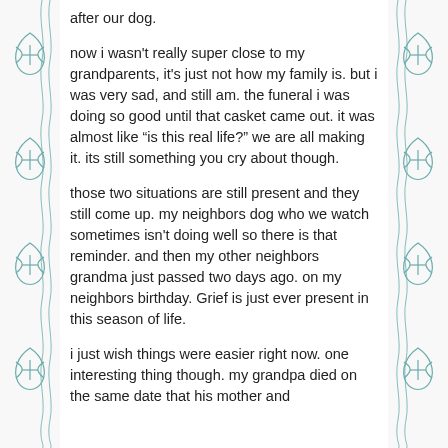after our dog.
now i wasn't really super close to my grandparents, it's just not how my family is. but i was very sad, and still am. the funeral i was doing so good until that casket came out. it was almost like “is this real life?” we are all making it. its still something you cry about though.
those two situations are still present and they still come up. my neighbors dog who we watch sometimes isn't doing well so there is that reminder. and then my other neighbors grandma just passed two days ago. on my neighbors birthday. Grief is just ever present in this season of life.
i just wish things were easier right now. one interesting thing though. my grandpa died on the same date that his mother and